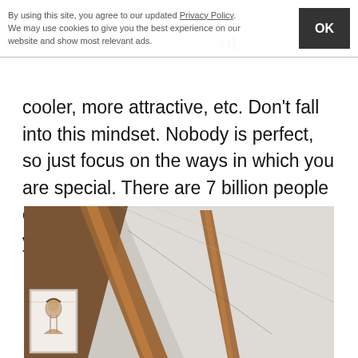By using this site, you agree to our updated Privacy Policy. We may use cookies to give you the best experience on our website and show most relevant ads.
cooler, more attractive, etc. Don't fall into this mindset. Nobody is perfect, so just focus on the ways in which you are special. There are 7 billion people on this planet, but there is nobody like you!
ADVERTISEMENT
[Figure (photo): Interior photo showing wooden roof beams against a white/grey ceiling, with a framed portrait on the left wall]